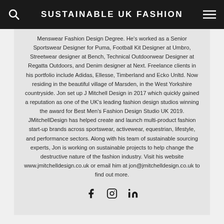SUSTAINABLE UK FASHION
Menswear Fashion Design Degree. He's worked as a Senior Sportswear Designer for Puma, Football Kit Designer at Umbro, Streetwear designer at Bench, Technical Outdoorwear Designer at Regatta Outdoors, and Denim designer at Next. Freelance clients in his portfolio include Adidas, Ellesse, Timberland and Ecko Unltd. Now residing in the beautiful village of Marsden, in the West Yorkshire countryside. Jon set up J Mitchell Design in 2017 which quickly gained a reputation as one of the UK's leading fashion design studios winning the award for Best Men's Fashion Design Studio UK 2019. JMitchellDesign has helped create and launch multi-product fashion start-up brands across sportswear, activewear, equestrian, lifestyle, and performance sectors. Along with his team of sustainable sourcing experts, Jon is working on sustainable projects to help change the destructive nature of the fashion industry. Visit his website www.jmitchelldesign.co.uk or email him at jon@jmitchelldesign.co.uk to find out more.
[Figure (other): Social media icons: Facebook, Instagram, LinkedIn]